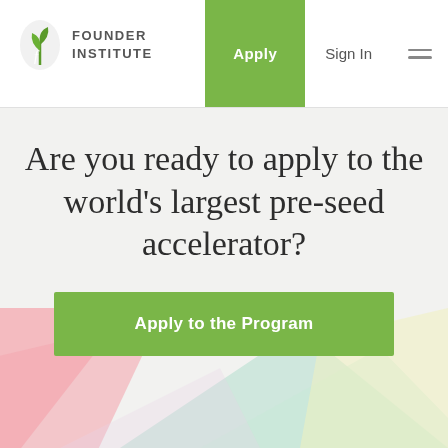[Figure (logo): Founder Institute logo: green leaf/sprout icon with 'FOUNDER INSTITUTE' text in uppercase]
Apply  Sign In
Are you ready to apply to the world's largest pre-seed accelerator?
Apply to the Program